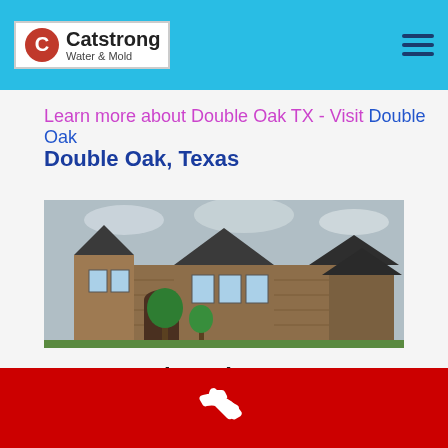Catstrong Water & Mold
Learn more about Double Oak TX - Visit Double Oak
Double Oak, Texas
[Figure (photo): Stone house with multiple gables and arched entryway, overcast sky, trees in front]
Catstrong is a Fire Damage Restoration Company servicing the entire Double Oak TX
Phone contact bar with phone icon